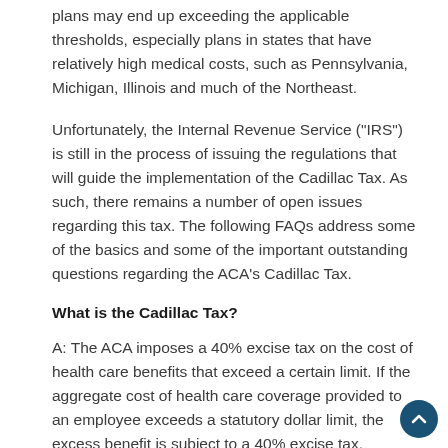plans may end up exceeding the applicable thresholds, especially plans in states that have relatively high medical costs, such as Pennsylvania, Michigan, Illinois and much of the Northeast.
Unfortunately, the Internal Revenue Service ("IRS") is still in the process of issuing the regulations that will guide the implementation of the Cadillac Tax. As such, there remains a number of open issues regarding this tax. The following FAQs address some of the basics and some of the important outstanding questions regarding the ACA's Cadillac Tax.
What is the Cadillac Tax?
A: The ACA imposes a 40% excise tax on the cost of health care benefits that exceed a certain limit. If the aggregate cost of health care coverage provided to an employee exceeds a statutory dollar limit, the excess benefit is subject to a 40% excise tax.